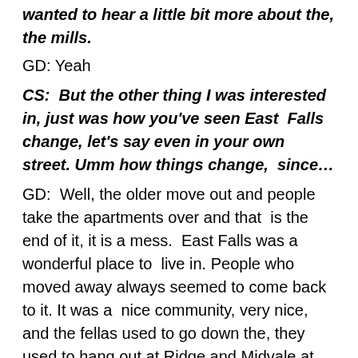wanted to hear a little bit more about the, the mills.
GD: Yeah
CS:  But the other thing I was interested in, just was how you've seen East  Falls change, let's say even in your own street. Umm how things change,  since…
GD:  Well, the older move out and people take the apartments over and that  is the end of it, it is a mess.  East Falls was a wonderful place to  live in. People who moved away always seemed to come back to it. It was a  nice community, very nice, and the fellas used to go down the, they  used to hang out at Ridge and Midvale at the,  what they called a "Gun Post". Did you ever hear